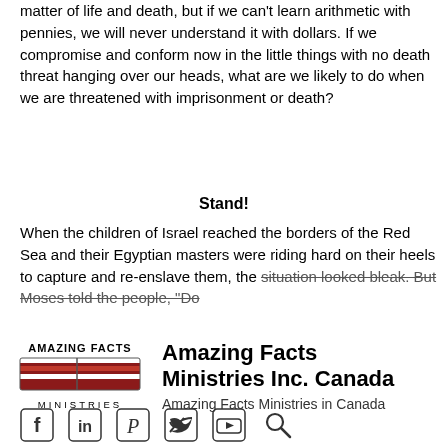matter of life and death, but if we can't learn arithmetic with pennies, we will never understand it with dollars. If we compromise and conform now in the little things with no death threat hanging over our heads, what are we likely to do when we are threatened with imprisonment or death?
Stand!
When the children of Israel reached the borders of the Red Sea and their Egyptian masters were riding hard on their heels to capture and re-enslave them, the situation looked bleak. But Moses told the people, "Do
[Figure (logo): Amazing Facts Ministries logo with book and red stripes]
Amazing Facts Ministries Inc. Canada
Amazing Facts Ministries in Canada
[Figure (infographic): Social media icons: Facebook, LinkedIn, Pinterest, Twitter, YouTube, and Search]